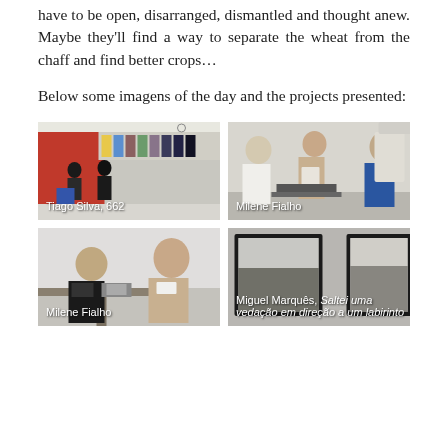have to be open, disarranged, dismantled and thought anew. Maybe they'll find a way to separate the wheat from the chaff and find better crops…
Below some imagens of the day and the projects presented:
[Figure (photo): Photo of people in a room with red wall and colorful artwork display. Caption: Tiago Silva, 662]
[Figure (photo): Photo of people in a meeting or presentation room, woman in centre. Caption: Milene Fialho]
[Figure (photo): Photo of two people talking at a table with documents. Caption: Milene Fialho]
[Figure (photo): Photo of framed black and white photographs on a wall. Caption: Miguel Marquês, Saltei uma vedação em direção a um labirinto]